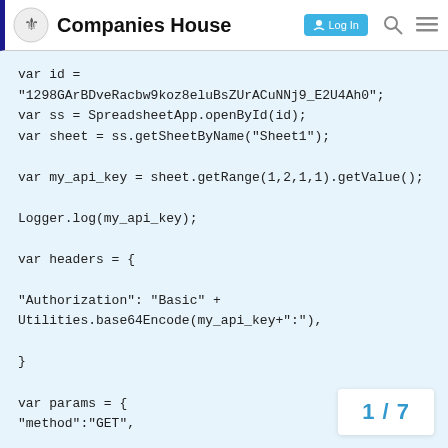Companies House  Log In
var id =
"1298GArBDveRacbw9koz8eluBsZUrACuNNj9_E2U4Ah0";
var ss = SpreadsheetApp.openById(id);
var sheet = ss.getSheetByName("Sheet1");

var my_api_key = sheet.getRange(1,2,1,1).getValue();

Logger.log(my_api_key);

var headers = {

"Authorization": "Basic" +
Utilities.base64Encode(my_api_key+":"),

}

var params = {
"method":"GET",

"headers":headers,